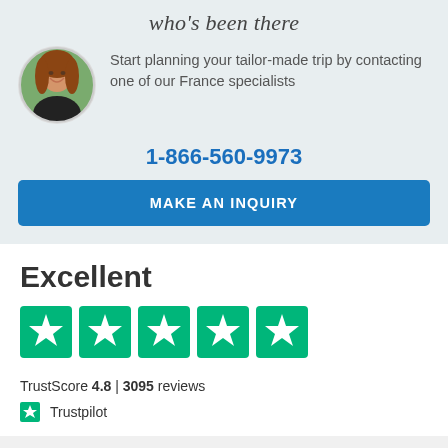who's been there
Start planning your tailor-made trip by contacting one of our France specialists
1-866-560-9973
MAKE AN INQUIRY
Excellent
[Figure (infographic): Five green Trustpilot star rating boxes with white stars]
TrustScore 4.8 | 3095 reviews
Trustpilot